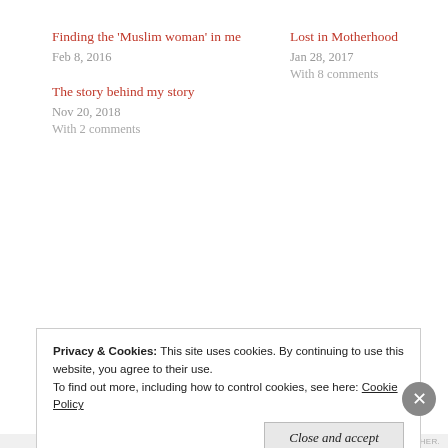Finding the 'Muslim woman' in me
Feb 8, 2016
Lost in Motherhood
Jan 28, 2017
With 8 comments
The story behind my story
Nov 20, 2018
With 2 comments
[Figure (photo): Gray placeholder image with a broken image icon]
Privacy & Cookies: This site uses cookies. By continuing to use this website, you agree to their use.
To find out more, including how to control cookies, see here: Cookie Policy
Close and accept
THEME: HER.